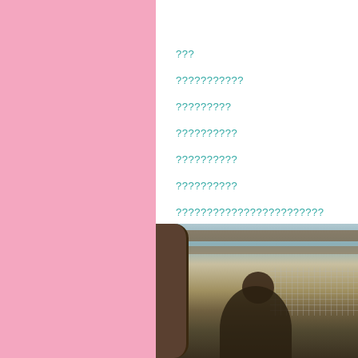???
???????????
?????????
??????????
??????????
??????????
????????????????????????
[Figure (photo): A person sitting in what appears to be a traditional wooden building or workshop, viewed through a window frame, with wooden ceiling beams and mesh/lattice visible in the background.]